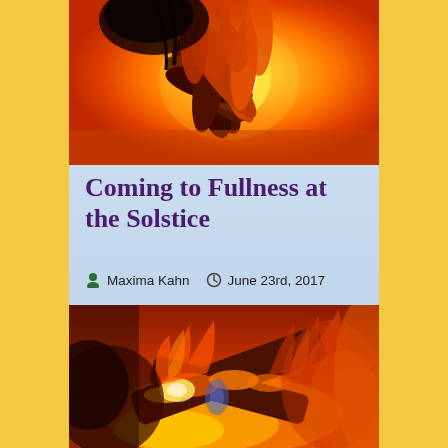[Figure (photo): Sunflower with dark petals against a bright orange-yellow sun, warm glowing sky background]
Coming to Fullness at the Solstice
Maxima Kahn   June 23rd, 2017
[Figure (photo): Close-up of burning logs and fire with glowing embers, orange and red flames]